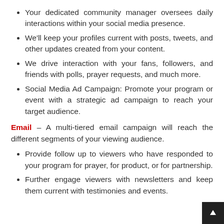Your dedicated community manager oversees daily interactions within your social media presence.
We'll keep your profiles current with posts, tweets, and other updates created from your content.
We drive interaction with your fans, followers, and friends with polls, prayer requests, and much more.
Social Media Ad Campaign: Promote your program or event with a strategic ad campaign to reach your target audience.
Email – A multi-tiered email campaign will reach the different segments of your viewing audience.
Provide follow up to viewers who have responded to your program for prayer, for product, or for partnership.
Further engage viewers with newsletters and keep them current with testimonies and events.